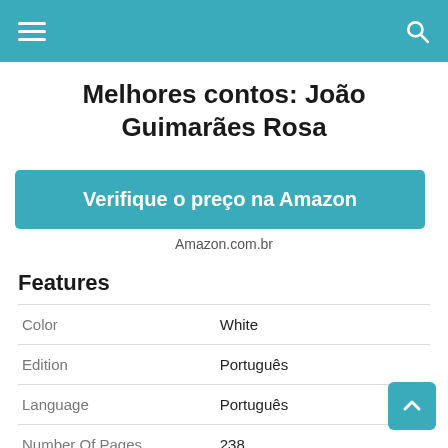Navigation bar with hamburger menu and search icon
Melhores contos: João Guimarães Rosa
Verifique o preço na Amazon
Amazon.com.br
Features
|  |  |
| --- | --- |
| Color | White |
| Edition | Português |
| Language | Português |
| Number Of Pages | 238 |
| Publication Date | 2020-10-31T00:00:01Z |